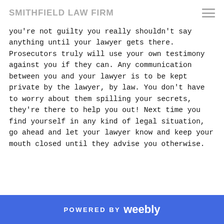SMITHFIELD LAW FIRM
you're not guilty you really shouldn't say anything until your lawyer gets there. Prosecutors truly will use your own testimony against you if they can. Any communication between you and your lawyer is to be kept private by the lawyer, by law. You don't have to worry about them spilling your secrets, they're there to help you out! Next time you find yourself in any kind of legal situation, go ahead and let your lawyer know and keep your mouth closed until they advise you otherwise.
POWERED BY weebly